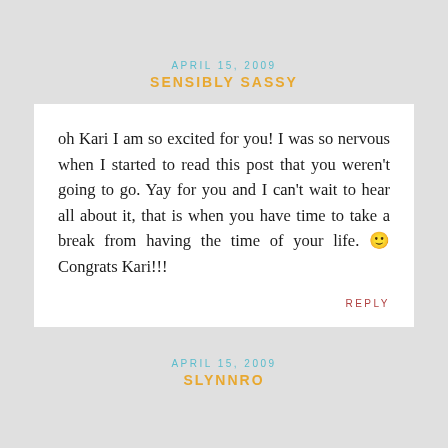APRIL 15, 2009
SENSIBLY SASSY
oh Kari I am so excited for you! I was so nervous when I started to read this post that you weren't going to go. Yay for you and I can't wait to hear all about it, that is when you have time to take a break from having the time of your life. 🙂 Congrats Kari!!!
REPLY
APRIL 15, 2009
SLYNNRO